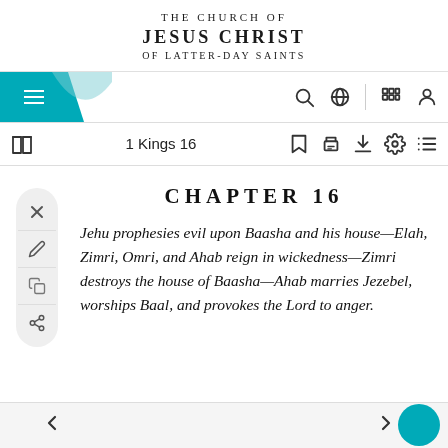THE CHURCH OF JESUS CHRIST OF LATTER-DAY SAINTS
CHAPTER 16
Jehu prophesies evil upon Baasha and his house—Elah, Zimri, Omri, and Ahab reign in wickedness—Zimri destroys the house of Baasha—Ahab marries Jezebel, worships Baal, and provokes the Lord to anger.